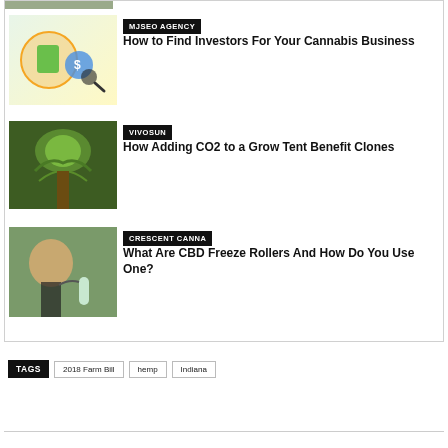[Figure (photo): Partial image at top (cropped)]
[Figure (illustration): Cannabis business investors illustration with dollar sign and magnifying glass]
MJSEO AGENCY
How to Find Investors For Your Cannabis Business
[Figure (photo): Close-up of a cannabis plant flower]
VIVOSUN
How Adding CO2 to a Grow Tent Benefit Clones
[Figure (photo): Person using a CBD freeze roller product outdoors]
CRESCENT CANNA
What Are CBD Freeze Rollers And How Do You Use One?
TAGS  2018 Farm Bill  hemp  Indiana